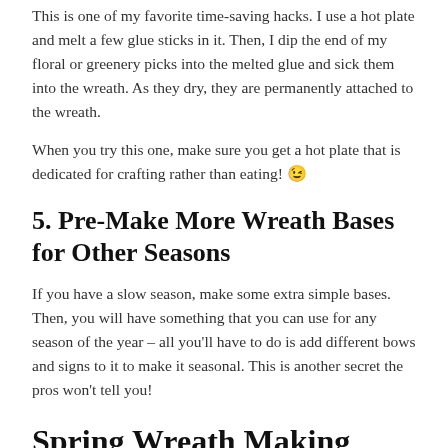This is one of my favorite time-saving hacks. I use a hot plate and melt a few glue sticks in it. Then, I dip the end of my floral or greenery picks into the melted glue and sick them into the wreath. As they dry, they are permanently attached to the wreath.
When you try this one, make sure you get a hot plate that is dedicated for crafting rather than eating! 😉
5. Pre-Make More Wreath Bases for Other Seasons
If you have a slow season, make some extra simple bases. Then, you will have something that you can use for any season of the year – all you'll have to do is add different bows and signs to it to make it seasonal. This is another secret the pros won't tell you!
Spring Wreath Making Hacks: